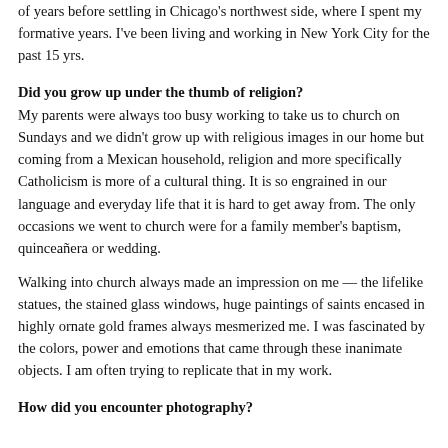of years before settling in Chicago's northwest side, where I spent my formative years. I've been living and working in New York City for the past 15 yrs.
Did you grow up under the thumb of religion?
My parents were always too busy working to take us to church on Sundays and we didn't grow up with religious images in our home but coming from a Mexican household, religion and more specifically Catholicism is more of a cultural thing. It is so engrained in our language and everyday life that it is hard to get away from. The only occasions we went to church were for a family member's baptism, quinceañera or wedding.
Walking into church always made an impression on me — the lifelike statues, the stained glass windows, huge paintings of saints encased in highly ornate gold frames always mesmerized me. I was fascinated by the colors, power and emotions that came through these inanimate objects. I am often trying to replicate that in my work.
How did you encounter photography?